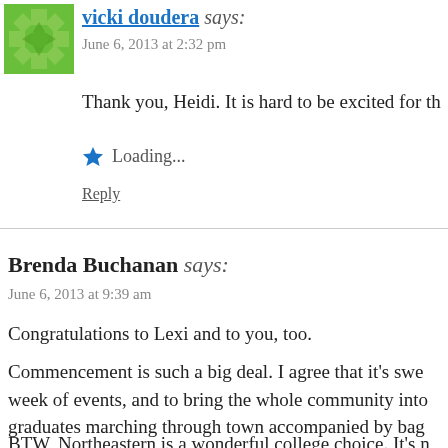[Figure (illustration): Green geometric avatar icon for vicki doudera]
vicki doudera says:
June 6, 2013 at 2:32 pm
Thank you, Heidi. It is hard to be excited for th
Loading...
Reply
Brenda Buchanan says:
June 6, 2013 at 9:39 am
Congratulations to Lexi and to you, too.
Commencement is such a big deal. I agree that it's swe week of events, and to bring the whole community into graduates marching through town accompanied by bag
BTW, Northeastern is a wonderful college choice. It's n